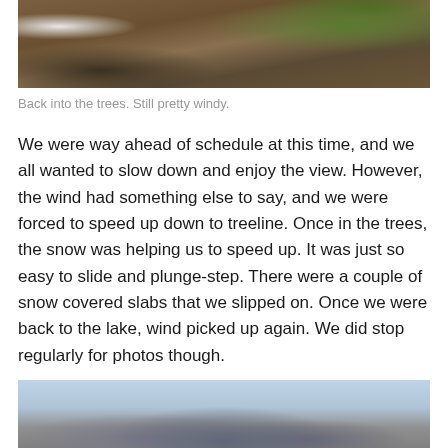[Figure (photo): Landscape photo showing a hillside with trees and scrubby vegetation, with patches of snow visible. A pine tree stands prominently on the right side. Windy alpine terrain.]
Back into the trees. Still pretty windy.
We were way ahead of schedule at this time, and we all wanted to slow down and enjoy the view. However, the wind had something else to say, and we were forced to speed up down to treeline. Once in the trees, the snow was helping us to speed up. It was just so easy to slide and plunge-step. There were a couple of snow covered slabs that we slipped on. Once we were back to the lake, wind picked up again. We did stop regularly for photos though.
[Figure (photo): Partial view of a mountain landscape with blue sky and clouds, snowy rocky peaks visible at the bottom of the image.]